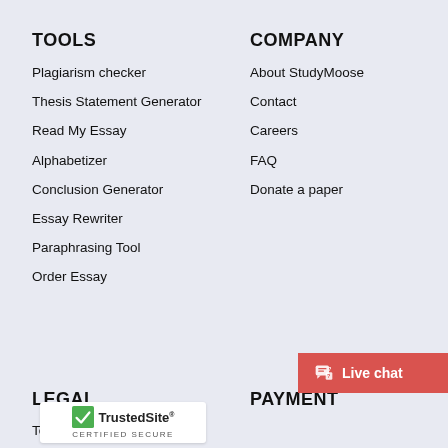TOOLS
Plagiarism checker
Thesis Statement Generator
Read My Essay
Alphabetizer
Conclusion Generator
Essay Rewriter
Paraphrasing Tool
Order Essay
COMPANY
About StudyMoose
Contact
Careers
FAQ
Donate a paper
LEGAL
PAYMENT
Terms & conditions
[Figure (logo): TrustedSite certified secure badge with green checkmark]
[Figure (other): Live chat button in red]